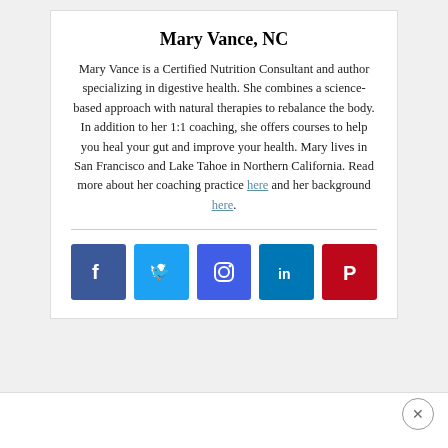Mary Vance, NC
Mary Vance is a Certified Nutrition Consultant and author specializing in digestive health. She combines a science-based approach with natural therapies to rebalance the body. In addition to her 1:1 coaching, she offers courses to help you heal your gut and improve your health. Mary lives in San Francisco and Lake Tahoe in Northern California. Read more about her coaching practice here and her background here.
[Figure (infographic): Row of 5 social media icon buttons: Facebook (dark blue), Twitter (light blue), Instagram (purple-blue), LinkedIn (dark blue), Pinterest (dark red)]